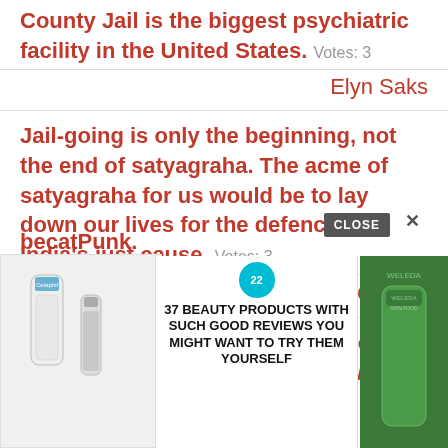County Jail is the biggest psychiatric facility in the United States.  Votes: 3
Elyn Saks
Jail-going is only the beginning, not the end of satyagraha. The acme of satyagraha for us would be to lay down our lives for the defence of India's just cause.  Votes: 3
Mahatma Gandhi
Manny Pacquiao I'm calling you out let's fight May 5th and give the world what they want to see. My Jail Sentence was pushed b... becat... punk.  Votes:
[Figure (infographic): Advertisement overlay with beauty product images and text: 37 BEAUTY PRODUCTS WITH SUCH GOOD REVIEWS YOU MIGHT WANT TO TRY THEM YOURSELF. Close button visible. X button visible.]
er, Jr.